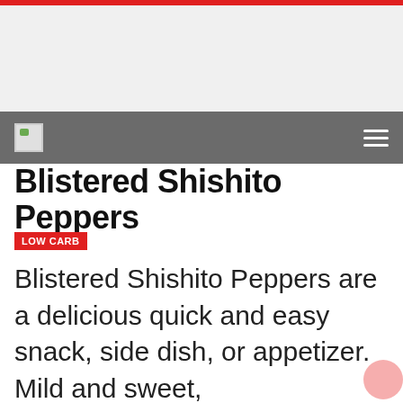[Figure (screenshot): Gray navigation bar with small logo image on left and hamburger menu icon on right, on a dark gray background. Above is a light gray advertisement/banner area.]
Blistered Shishito Peppers
LOW CARB
Blistered Shishito Peppers are a delicious quick and easy snack, side dish, or appetizer. Mild and sweet,